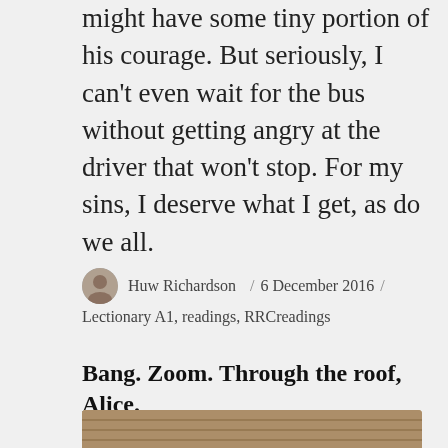might have some tiny portion of his courage. But seriously, I can't even wait for the bus without getting angry at the driver that won't stop. For my sins, I deserve what I get, as do we all.
Huw Richardson / 6 December 2016 / Lectionary A1, readings, RRCreadings
Bang. Zoom. Through the roof, Alice.
[Figure (photo): Illustration or painting showing figures on a rooftop scene, partially visible at the bottom of the page.]